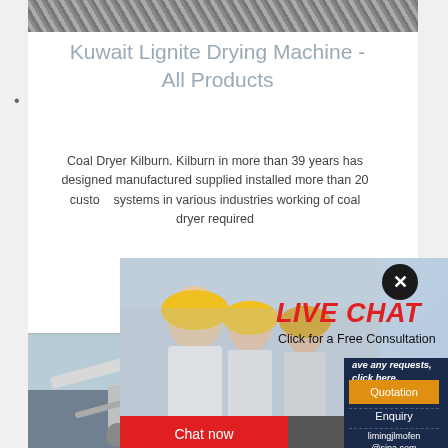[Figure (photo): Top gravel/rock image strip]
Kuwait Lignite Drying Machine - All Products
Coal Dryer Kilburn. Kilburn in more than 39 years has designed manufactured supplied installed more than 20 custom systems in various industries working of coal dryer required
[Figure (photo): Live chat popup with workers in yellow hard hats and woman with headset. Shows 'LIVE CHAT Click for a Free Consultation' with Chat now and Chat later buttons.]
[Figure (photo): Industrial machine/crane image at bottom]
ave any requests, click here.
Quotation
Enquiry
limingjlmofen@sina.com